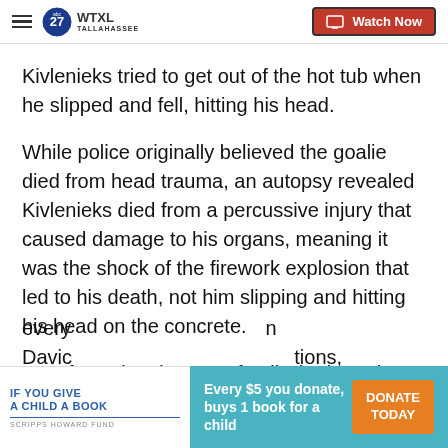WTXL TALLAHASSEE — Watch Now
Kivlenieks tried to get out of the hot tub when he slipped and fell, hitting his head.
While police originally believed the goalie died from head trauma, an autopsy revealed Kivlenieks died from a percussive injury that caused damage to his organs, meaning it was the shock of the firework explosion that led to his death, not him slipping and hitting his head on the concrete.
"Our focus has been on family, both Matiss' in Latvia and our own Blue Jackets family here, and we're doing every... David... tions,
[Figure (infographic): IF YOU GIVE A CHILD A BOOK — SCRIPPS HOWARD FUND advertisement. Every $5 you donate, buys 1 book for a child. DONATE TODAY button in orange.]